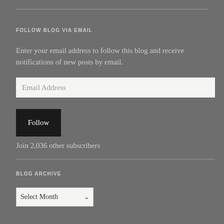FOLLOW BLOG VIA EMAIL
Enter your email address to follow this blog and receive notifications of new posts by email.
Join 2,036 other subscribers
BLOG ARCHIVE